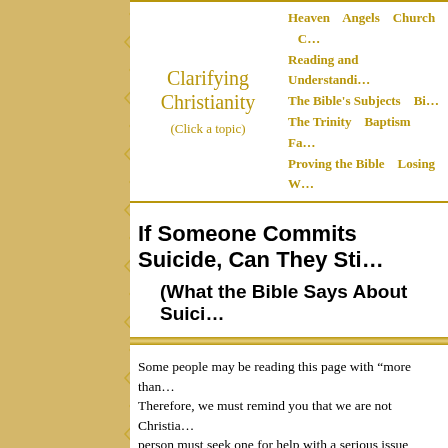Clarifying Christianity (Click a topic) | Heaven Angels Church | Reading and Understanding | The Bible's Subjects Bi... | The Trinity Baptism Fa... | Proving the Bible Losing W...
If Someone Commits Suicide, Can They Sti...
(What the Bible Says About Suici...
Some people may be reading this page with “more than…” Therefore, we must remind you that we are not Christia… person must seek one for help with a serious issue like… work with a Christian counselor, it is each person’s resp… pertinent questions before beginning to confirm their qu…
Our personal opinion on this issue is don't do it, but ple… what the Bible says about suicide.
The Key Issue
That said, the first thing to consider with this question i…